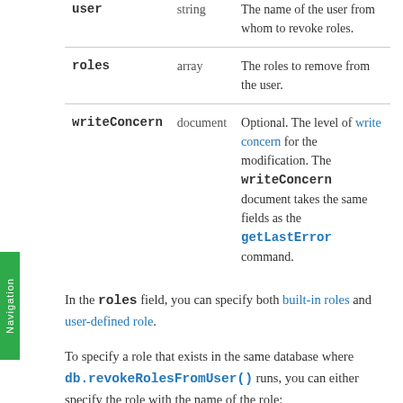| Parameter | Type | Description |
| --- | --- | --- |
| user | string | The name of the user from whom to revoke roles. |
| roles | array | The roles to remove from the user. |
| writeConcern | document | Optional. The level of write concern for the modification. The writeConcern document takes the same fields as the getLastError command. |
In the roles field, you can specify both built-in roles and user-defined role.
To specify a role that exists in the same database where db.revokeRolesFromUser() runs, you can either specify the role with the name of the role: